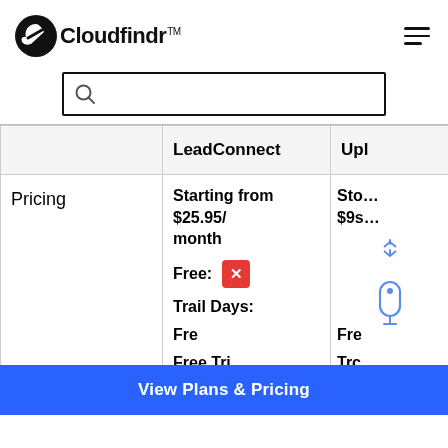Cloudfindr™
|  | LeadConnect | Upl… |
| --- | --- | --- |
| Pricing | Starting from $25.95/month
Free: ✗
Trail Days:
Fre…
Free Tri… | Sto… $9s…
Fre…
Trc…
Fre…
Fre… |
View Plans & Pricing